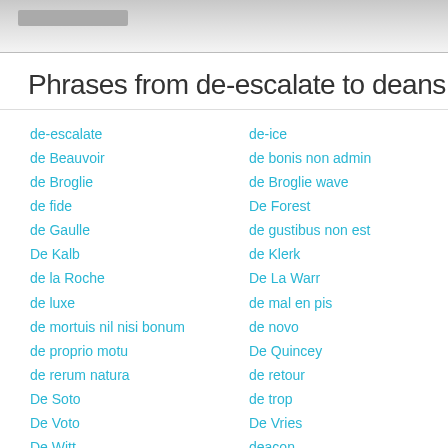Phrases from de-escalate to deans
de-escalate
de Beauvoir
de Broglie
de fide
de Gaulle
De Kalb
de la Roche
de luxe
de mortuis nil nisi bonum
de proprio motu
de rerum natura
De Soto
De Voto
De Witt
deactivate
de-ice
de bonis non admin
de Broglie wave
De Forest
de gustibus non est
de Klerk
De La Warr
de mal en pis
de novo
De Quincey
de retour
de trop
De Vries
deacon
dead